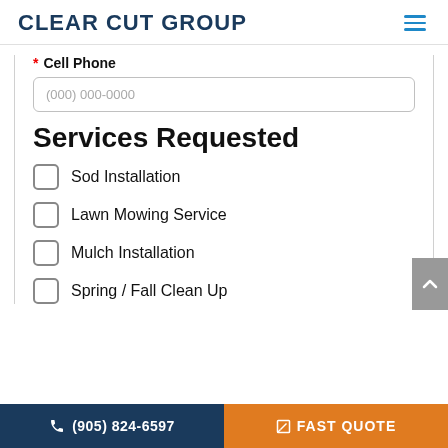CLEAR CUT GROUP
* Cell Phone
(000) 000-0000
Services Requested
Sod Installation
Lawn Mowing Service
Mulch Installation
Spring / Fall Clean Up
(905) 824-6597  FAST QUOTE